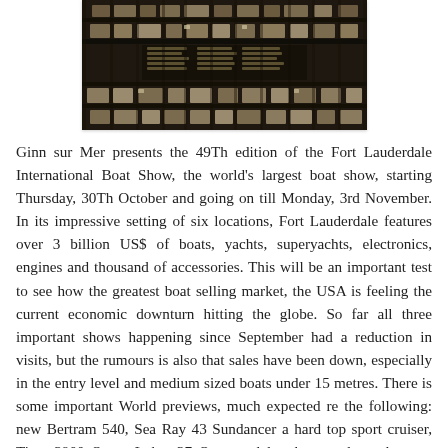[Figure (photo): Aerial photograph of Fort Lauderdale showing the marina and surrounding urban grid with waterways and boats.]
Ginn sur Mer presents the 49Th edition of the Fort Lauderdale International Boat Show, the world's largest boat show, starting Thursday, 30Th October and going on till Monday, 3rd November. In its impressive setting of six locations, Fort Lauderdale features over 3 billion US$ of boats, yachts, superyachts, electronics, engines and thousand of accessories. This will be an important test to see how the greatest boat selling market, the USA is feeling the current economic downturn hitting the globe. So far all three important shows happening since September had a reduction in visits, but the rumours is also that sales have been down, especially in the entry level and medium sized boats under 15 metres. There is some important World previews, much expected re the following: new Bertram 540, Sea Ray 43 Sundancer a hard top sport cruiser, Tiara 3900 Open, Luhrs 37 Open and last but not least the new Super Sport Yacht from Lazzara the LSX 92.